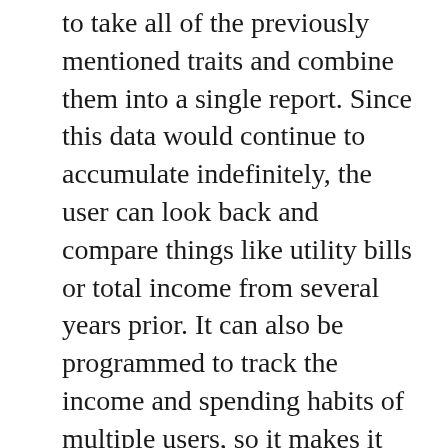to take all of the previously mentioned traits and combine them into a single report. Since this data would continue to accumulate indefinitely, the user can look back and compare things like utility bills or total income from several years prior. It can also be programmed to track the income and spending habits of multiple users, so it makes it much easier to find ways to save money when finances come from different sources.